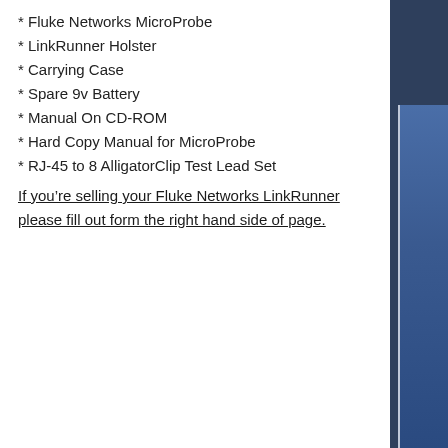* Fluke Networks MicroProbe
* LinkRunner Holster
* Carrying Case
* Spare 9v Battery
* Manual On CD-ROM
* Hard Copy Manual for MicroProbe
* RJ-45 to 8 AlligatorClip Test Lead Set
If you’re selling your Fluke Networks LinkRunner please fill out form the right hand side of page.